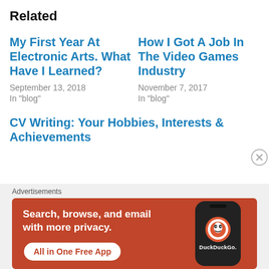Related
My First Year At Electronic Arts. What Have I Learned?
September 13, 2018
In "blog"
How I Got A Job In The Video Games Industry
November 7, 2017
In "blog"
CV Writing: Your Hobbies, Interests & Achievements
[Figure (screenshot): DuckDuckGo advertisement banner on orange background with text 'Search, browse, and email with more privacy. All in One Free App' and a phone showing DuckDuckGo logo]
Advertisements